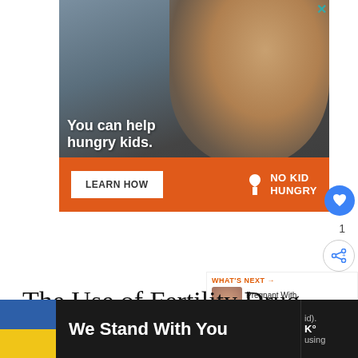[Figure (photo): Advertisement banner showing a young boy eating. Text reads 'You can help hungry kids.' with a 'LEARN HOW' button and 'NO KID HUNGRY' logo on an orange background.]
The Use of Fertility Drug
[Figure (screenshot): What's Next panel showing thumbnail for 'Pregnant With Twins? 7...']
[Figure (screenshot): Bottom advertisement banner: Ukrainian flag colors with text 'We Stand With You' and a close button. Right side shows partial text 'id)', degree symbol, and 'using'.]